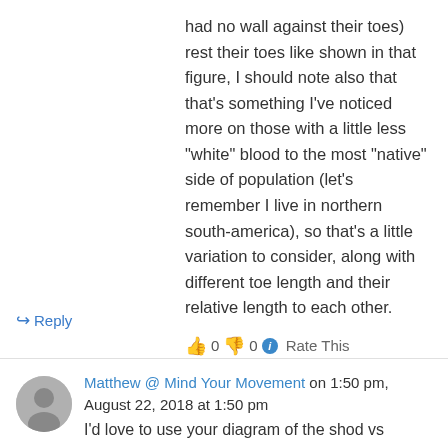had no wall against their toes) rest their toes like shown in that figure, I should note also that that's something I've noticed more on those with a little less “white” blood to the most “native” side of population (let’s remember I live in northern south-america), so that’s a little variation to consider, along with different toe length and their relative length to each other.
👍 0 👎 0 ⓘ Rate This
↪ Reply
Matthew @ Mind Your Movement on 1:50 pm, August 22, 2018 at 1:50 pm
I’d love to use your diagram of the shod vs